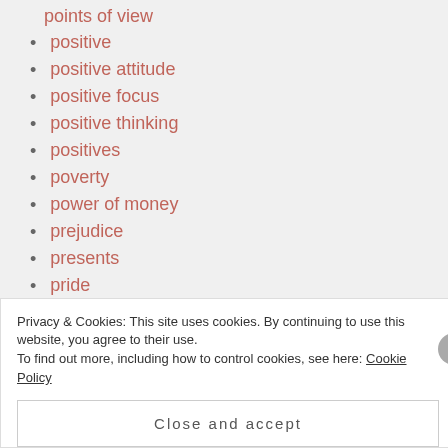points of view
positive
positive attitude
positive focus
positive thinking
positives
poverty
power of money
prejudice
presents
pride
puppies
Privacy & Cookies: This site uses cookies. By continuing to use this website, you agree to their use. To find out more, including how to control cookies, see here: Cookie Policy
Close and accept